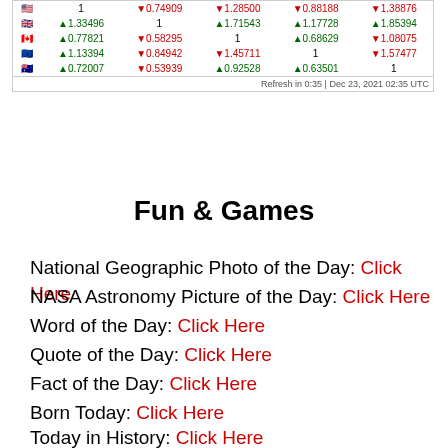[Figure (table-as-image): Currency exchange rate table showing flags for USA, UK, Canada, EU, Australia with numeric exchange rate values and up/down arrows. Refresh time: Dec 23, 2021 02:35 UTC]
Fun & Games
National Geographic Photo of the Day: Click Here
NASA Astronomy Picture of the Day: Click Here
Word of the Day: Click Here
Quote of the Day: Click Here
Fact of the Day: Click Here
Born Today: Click Here
Today in History: Click Here